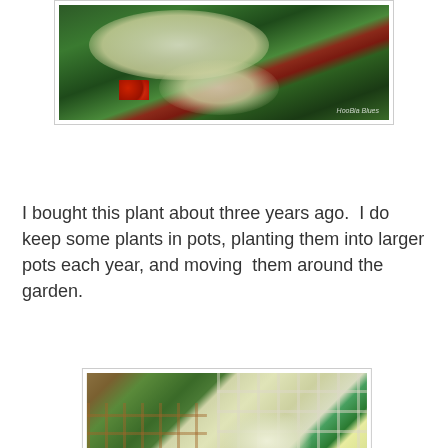[Figure (photo): Close-up photo of white hydrangea flowers with green foliage and red berries in the background. Watermark text 'HooBia Blues' in bottom right corner.]
I bought this plant about three years ago.  I do keep some plants in pots, planting them into larger pots each year, and moving  them around the garden.
[Figure (photo): Garden photo showing large white hydrangea bushes in full bloom with a wooden pergola/gazebo structure and lattice fence in the background.]